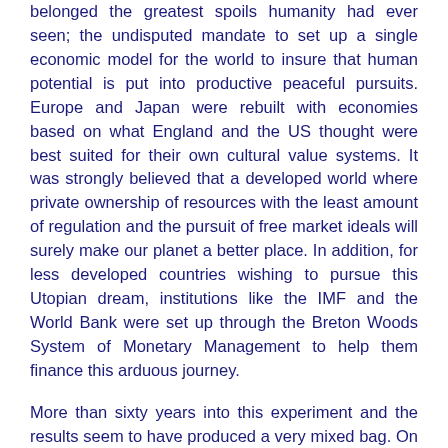belonged the greatest spoils humanity had ever seen; the undisputed mandate to set up a single economic model for the world to insure that human potential is put into productive peaceful pursuits. Europe and Japan were rebuilt with economies based on what England and the US thought were best suited for their own cultural value systems. It was strongly believed that a developed world where private ownership of resources with the least amount of regulation and the pursuit of free market ideals will surely make our planet a better place. In addition, for less developed countries wishing to pursue this Utopian dream, institutions like the IMF and the World Bank were set up through the Breton Woods System of Monetary Management to help them finance this arduous journey.
More than sixty years into this experiment and the results seem to have produced a very mixed bag. On one end of the spectrum the free market economy concept worked well for nations that were already developed and had the institutional